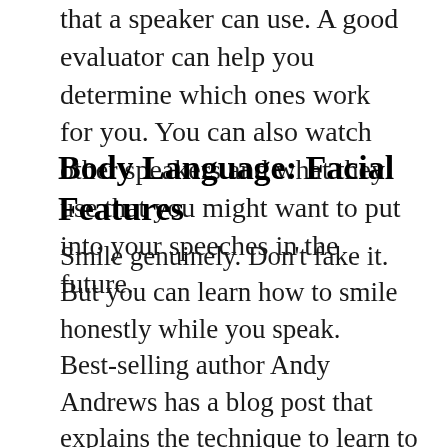that a speaker can use. A good evaluator can help you determine which ones work for you. You can also watch other speakers and what they use that you might want to put into your speeches in the future.
Body Language:  Facial Features
Smile genuinely.  Don't fake it.  But you can learn how to smile honestly while you speak.  Best-selling author Andy Andrews has a blog post that explains the technique to learn to smile and speak.
 http://www.andyandrews.com/how-to-smile-while-you-talk/